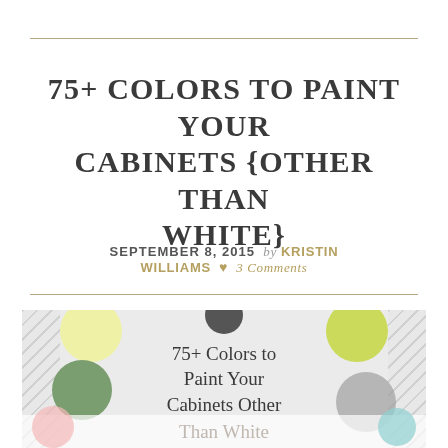75+ COLORS TO PAINT YOUR CABINETS {OTHER THAN WHITE}
SEPTEMBER 8, 2015 By KRISTIN WILLIAMS ♥ 3 Comments
[Figure (illustration): Promotional image showing colorful polka dots on a gray background with diagonal stripe borders on sides, containing text '75+ Colors to Paint Your Cabinets Other Than White']